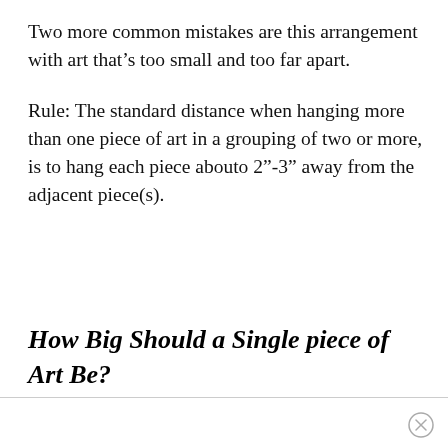Two more common mistakes are this arrangement with art that's too small and too far apart.
Rule: The standard distance when hanging more than one piece of art in a grouping of two or more, is to hang each piece abouto 2"-3" away from the adjacent piece(s).
How Big Should a Single piece of Art Be?